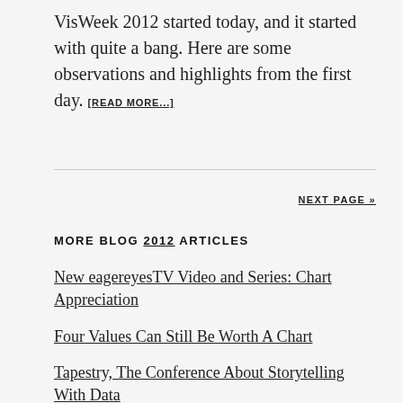VisWeek 2012 started today, and it started with quite a bang. Here are some observations and highlights from the first day. [READ MORE...]
NEXT PAGE »
MORE BLOG 2012 ARTICLES
New eagereyesTV Video and Series: Chart Appreciation
Four Values Can Still Be Worth A Chart
Tapestry, The Conference About Storytelling With Data
Listen To Me Dispense My Wisdom on the Data Stories Podcast!